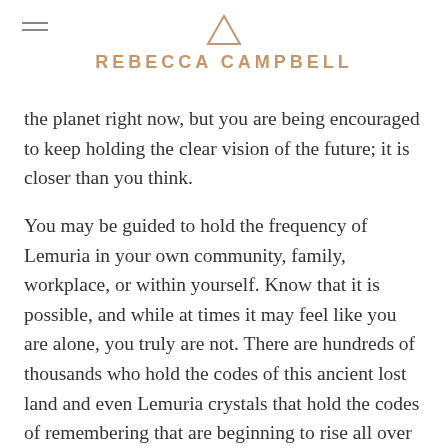REBECCA CAMPBELL
the planet right now, but you are being encouraged to keep holding the clear vision of the future; it is closer than you think.
You may be guided to hold the frequency of Lemuria in your own community, family, workplace, or within yourself. Know that it is possible, and while at times it may feel like you are alone, you truly are not. There are hundreds of thousands who hold the codes of this ancient lost land and even Lemuria crystals that hold the codes of remembering that are beginning to rise all over the planet.
Keep doing what you are doing and remember: The only way to heal the world around us is to first heal ourselves.